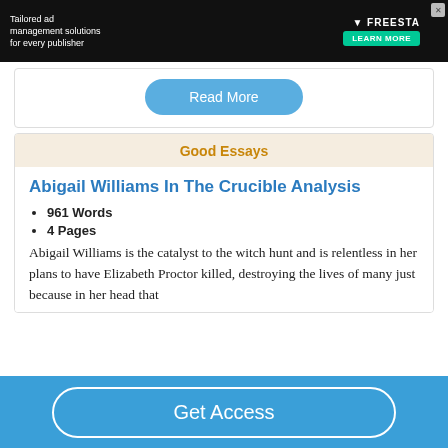[Figure (screenshot): Ad banner: Tailored ad management solutions for every publisher — FREESTA LEARN MORE button]
Read More
Good Essays
Abigail Williams In The Crucible Analysis
961 Words
4 Pages
Abigail Williams is the catalyst to the witch hunt and is relentless in her plans to have Elizabeth Proctor killed, destroying the lives of many just because in her head that
Get Access